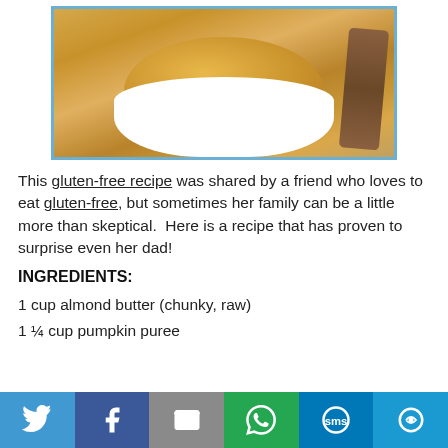[Figure (photo): A white bowl filled with mashed orange-colored food (likely pumpkin or sweet potato mixture), set on a textured surface with a brown item in the background.]
This gluten-free recipe was shared by a friend who loves to eat gluten-free, but sometimes her family can be a little more than skeptical.  Here is a recipe that has proven to surprise even her dad!
INGREDIENTS:
1 cup almond butter (chunky, raw)
1 ¼ cup pumpkin puree